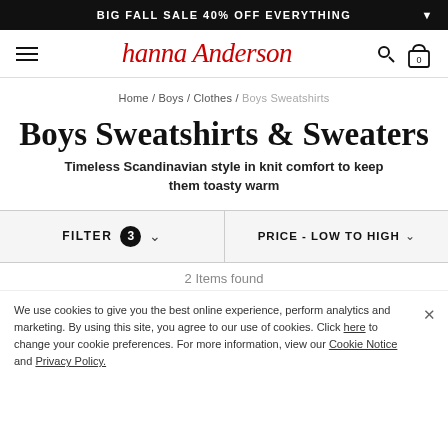BIG FALL SALE 40% OFF EVERYTHING
[Figure (logo): Hanna Andersson cursive red logo with hamburger menu, search icon, and cart icon (0 items)]
Home / Boys / Clothes / Boys Sweatshirts
Boys Sweatshirts & Sweaters
Timeless Scandinavian style in knit comfort to keep them toasty warm
FILTER 3 ∨   PRICE - LOW TO HIGH ∨
2 Items found
We use cookies to give you the best online experience, perform analytics and marketing. By using this site, you agree to our use of cookies. Click here to change your cookie preferences. For more information, view our Cookie Notice and Privacy Policy.